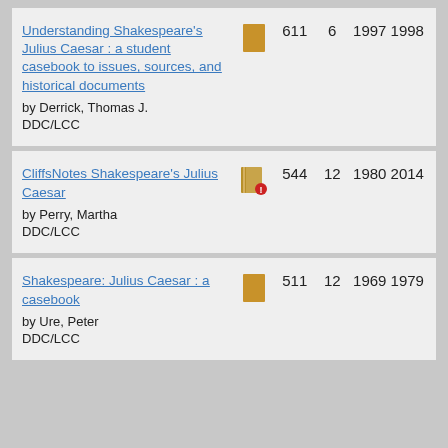| Title/Author | Icon | 611/544/511 | 6/12/12 | 1997/1980/1969 | 1998/2014/1979 |
| --- | --- | --- | --- | --- | --- |
| Understanding Shakespeare's Julius Caesar : a student casebook to issues, sources, and historical documents
by Derrick, Thomas J.
DDC/LCC | book | 611 | 6 | 1997 | 1998 |
| CliffsNotes Shakespeare's Julius Caesar
by Perry, Martha
DDC/LCC | book-error | 544 | 12 | 1980 | 2014 |
| Shakespeare: Julius Caesar : a casebook
by Ure, Peter
DDC/LCC | book | 511 | 12 | 1969 | 1979 |